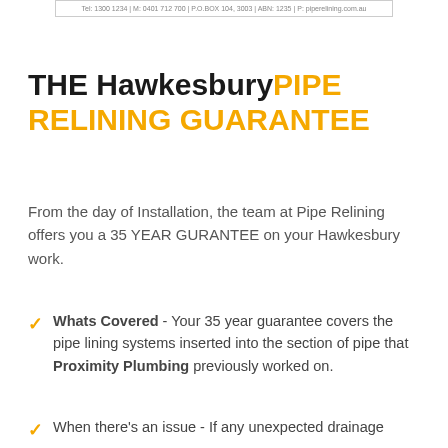Tel: 1300 1234 | M: 0401 712 700 | P.O.BOX 104, 3003 | ABN: 1235 | P: piperelining.com.au
THE HawkesburyPIPE RELINING GUARANTEE
From the day of Installation, the team at Pipe Relining offers you a 35 YEAR GURANTEE on your Hawkesbury work.
Whats Covered - Your 35 year guarantee covers the pipe lining systems inserted into the section of pipe that Proximity Plumbing previously worked on.
When there's an issue - If any unexpected drainage